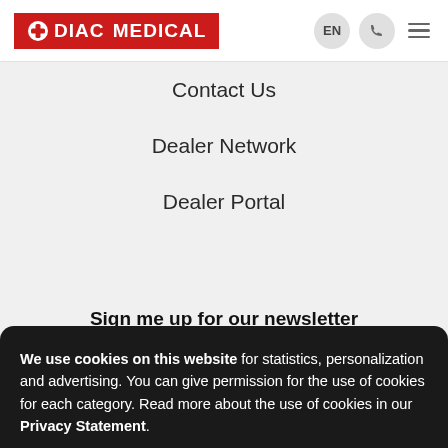[Figure (logo): DIAC MEDICAL logo — red background with white cross icon and white bold text]
EN
Contact Us
Dealer Network
Dealer Portal
Sign me up for our newsletter
We use cookies on this website for statistics, personalization and advertising. You can give permission for the use of cookies for each category. Read more about the use of cookies in our Privacy Statement.
Agree & close
Show settings